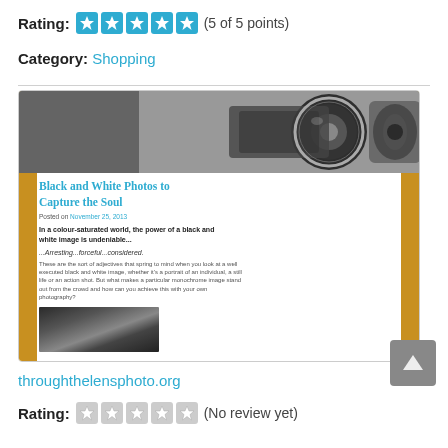Rating: (5 of 5 points)
Category: Shopping
[Figure (screenshot): Screenshot of throughthelensphoto.org website showing a blog post titled 'Black and White Photos to Capture the Soul' with a camera lens banner image and article preview text.]
throughthelensphoto.org
Rating: (No review yet)